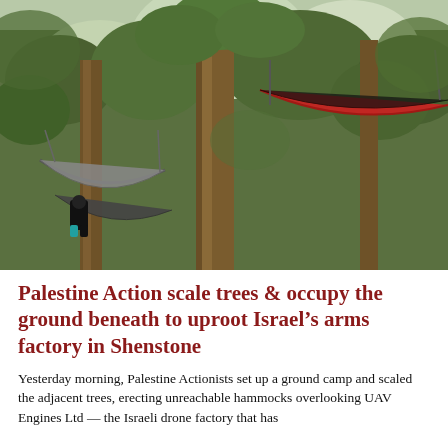[Figure (photo): Activists in trees with colorful hammocks strung between tall trees in a dense woodland. A black and red hammock is visible at upper right, grey hammocks at left. A person in black is visible climbing near the base of the main trunk. Green leafy trees fill the background.]
Palestine Action scale trees & occupy the ground beneath to uproot Israel's arms factory in Shenstone
Yesterday morning, Palestine Actionists set up a ground camp and scaled the adjacent trees, erecting unreachable hammocks overlooking UAV Engines Ltd — the Israeli drone factory that has...